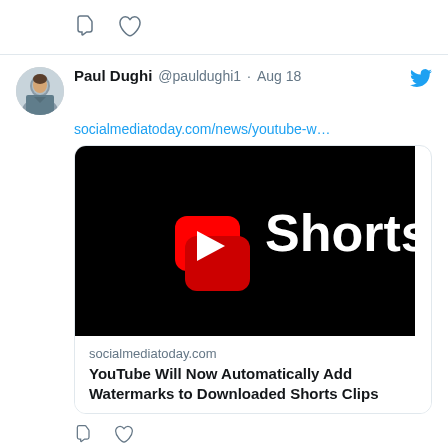[Figure (screenshot): Top partial tweet showing comment and like icons]
Paul Dughi @pauldughi1 · Aug 18
socialmediatoday.com/news/youtube-w…
[Figure (screenshot): YouTube Shorts logo on black background — red YouTube Shorts icon with white text 'Shorts']
socialmediatoday.com
YouTube Will Now Automatically Add Watermarks to Downloaded Shorts Clips
[Figure (screenshot): Tweet action icons: comment and like]
Paul Dughi @pauldughi1 · Aug 17